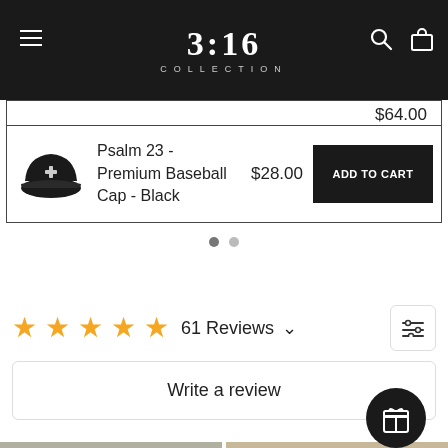3:16 COLLECTION
$64.00
[Figure (photo): Black baseball cap with small cross emblem on front]
Psalm 23 - Premium Baseball Cap - Black
$28.00
ADD TO CART
61 Reviews
Write a review
[Figure (photo): Two thumbnail product images at bottom of page]